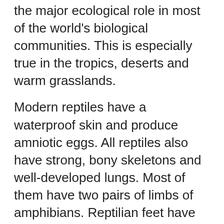the major ecological role in most of the world's biological communities. This is especially true in the tropics, deserts and warm grasslands.
Modern reptiles have a waterproof skin and produce amniotic eggs. All reptiles also have strong, bony skeletons and well-developed lungs. Most of them have two pairs of limbs of amphibians. Reptilian feet have toes with claws that are used for digging or for climbing on trees and rocks.
The nervous system of reptiles is similar to that of amphibians. The brain is small in relation to the body. Despite the small brain, reptiles have shown complex behavioral patterns, including elaborate courtship rituals.
The excretory system of reptiles is modified to minimize water loss. Water is absorbed into the body through the intestine, bladder, a pair of kidneys, and